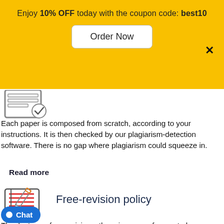Enjoy 10% OFF today with the coupon code: best10
[Figure (screenshot): Order Now button on yellow banner]
[Figure (illustration): Partial document/checkmark icon at top left]
Each paper is composed from scratch, according to your instructions. It is then checked by our plagiarism-detection software. There is no gap where plagiarism could squeeze in.
Read more
[Figure (illustration): Notebook with pencil icon for free-revision policy section]
Free-revision policy
Thanks to our free revisions, there is no way for you to be unsatisfied. We will work on your paper until you are completely h the result.